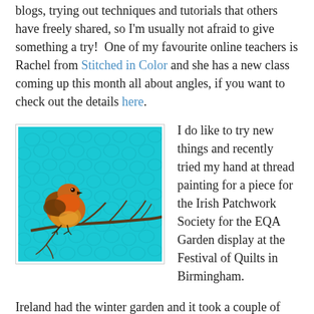blogs, trying out techniques and tutorials that others have freely shared, so I'm usually not afraid to give something a try!  One of my favourite online teachers is Rachel from Stitched in Color and she has a new class coming up this month all about angles, if you want to check out the details here.
[Figure (photo): A thread-painted robin sitting on a bare branch against a textured teal/turquoise quilted background. The robin has an orange-red breast and brown body.]
I do like to try new things and recently tried my hand at thread painting for a piece for the Irish Patchwork Society for the EQA Garden display at the Festival of Quilts in Birmingham.
Ireland had the winter garden and it took a couple of attempts (4!) to get the Robin the way I wanted him.  (Robins